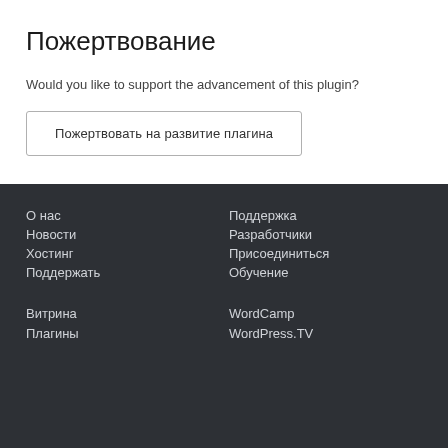Пожертвование
Would you like to support the advancement of this plugin?
Пожертвовать на развитие плагина
О нас
Новости
Хостинг
Поддержать
Поддержка
Разработчики
Присоединиться
Обучение
Витрина
Плагины
WordCamp
WordPress.TV